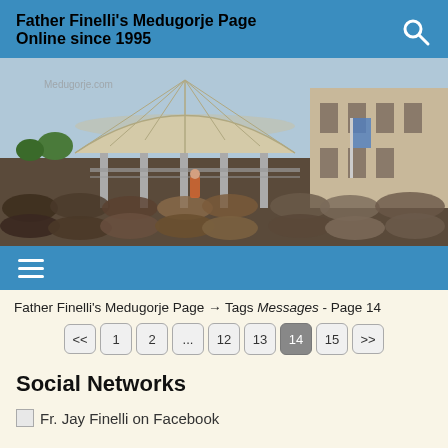Father Finelli's Medugorje Page Online since 1995
[Figure (photo): Outdoor crowd gathered at a religious site in Medugorje, with a large circular covered pavilion/altar structure in the center and a multi-story building on the right. Watermark reads Medugorje.com.]
Father Finelli's Medugorje Page → Tags Messages - Page 14
Pagination: << 1 2 ... 12 13 14 15 >>
Social Networks
Fr. Jay Finelli on Facebook